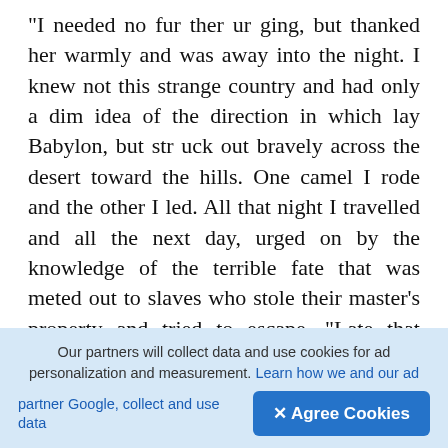"I needed no fur ther ur ging, but thanked her warmly and was away into the night. I knew not this strange country and had only a dim idea of the direction in which lay Babylon, but str uck out bravely across the desert toward the hills. One camel I rode and the other I led. All that night I travelled and all the next day, urged on by the knowledge of the terrible fate that was meted out to slaves who stole their master's property and tried to escape. "Late that afternoon, I reached a rough country as uninhabitable as the desert. The sharp rocks bruised the feet of my faithful came, soon they were picking their way slowly, painfully along. I met neither man nor beast and could well understand why they shunned this
[Figure (other): Dark rounded square button with a circle arrow (upload/navigate) icon]
Our partners will collect data and use cookies for ad personalization and measurement. Learn how we and our ad partner Google, collect and use data
✕ Agree Cookies